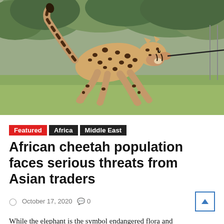[Figure (photo): A cheetah running at speed across a grassy field with trees in the background. The animal is spotted and mid-stride, tail raised, facing right.]
Featured  Africa  Middle East
African cheetah population faces serious threats from Asian traders
October 17, 2020   0
While the elephant is the symbol endangered flora and